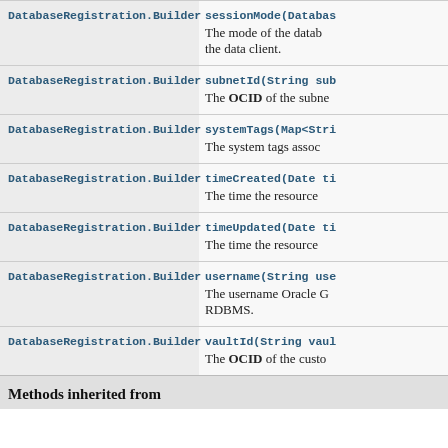| Class | Method & Description |
| --- | --- |
| DatabaseRegistration.Builder | sessionMode(Databas…
The mode of the datab… the data client. |
| DatabaseRegistration.Builder | subnetId(String sub…
The OCID of the subne… |
| DatabaseRegistration.Builder | systemTags(Map<Stri…
The system tags assoc… |
| DatabaseRegistration.Builder | timeCreated(Date ti…
The time the resource… |
| DatabaseRegistration.Builder | timeUpdated(Date ti…
The time the resource… |
| DatabaseRegistration.Builder | username(String use…
The username Oracle G… RDBMS. |
| DatabaseRegistration.Builder | vaultId(String vaul…
The OCID of the custo… |
Methods inherited from